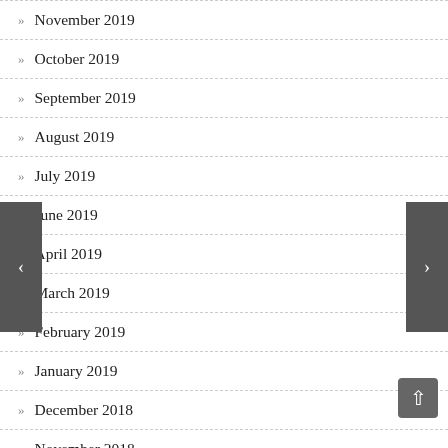» November 2019
» October 2019
» September 2019
» August 2019
» July 2019
» June 2019
» April 2019
» March 2019
» February 2019
» January 2019
» December 2018
» November 2018
» October 2018
» September 2018
» August 2018